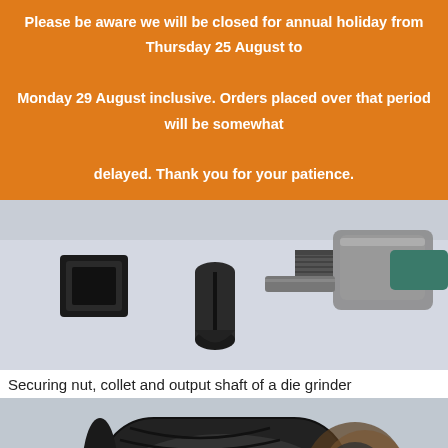Please be aware we will be closed for annual holiday from Thursday 25 August to Monday 29 August inclusive. Orders placed over that period will be somewhat delayed. Thank you for your patience.
[Figure (photo): Photo showing a securing nut, collet and output shaft of a die grinder laid out on a light grey surface. Metal components visible including a black square nut, a dark cylindrical collet with a slot, a threaded shaft collar, and a chrome die grinder body.]
Securing nut, collet and output shaft of a die grinder
[Figure (photo): Close-up photo of a die grinder output shaft showing threading/spiral grooves on a dark metallic shaft with rust and wear visible around a coupling or collet nut area.]